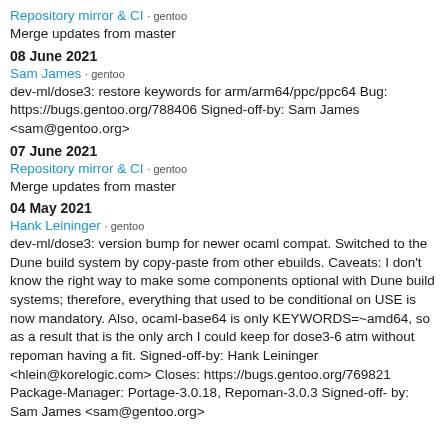Repository mirror & CI · gentoo
Merge updates from master
08 June 2021
Sam James · gentoo
dev-ml/dose3: restore keywords for arm/arm64/ppc/ppc64 Bug: https://bugs.gentoo.org/788406 Signed-off-by: Sam James <sam@gentoo.org>
07 June 2021
Repository mirror & CI · gentoo
Merge updates from master
04 May 2021
Hank Leininger · gentoo
dev-ml/dose3: version bump for newer ocaml compat. Switched to the Dune build system by copy-paste from other ebuilds. Caveats: I don't know the right way to make some components optional with Dune build systems; therefore, everything that used to be conditional on USE is now mandatory. Also, ocaml-base64 is only KEYWORDS=~amd64, so as a result that is the only arch I could keep for dose3-6 atm without repoman having a fit. Signed-off-by: Hank Leininger <hlein@korelogic.com> Closes: https://bugs.gentoo.org/769821 Package-Manager: Portage-3.0.18, Repoman-3.0.3 Signed-off-by: Sam James <sam@gentoo.org>